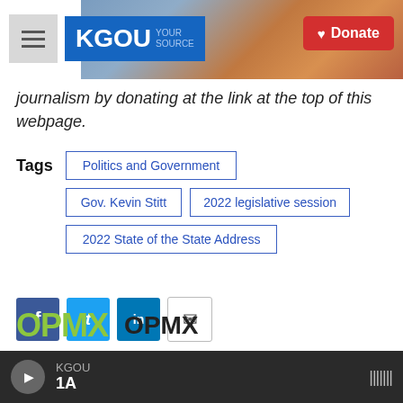KGOU | Donate
journalism by donating at the link at the top of this webpage.
Tags: Politics and Government | Gov. Kevin Stitt | 2022 legislative session | 2022 State of the State Address
[Figure (infographic): Social share buttons: Facebook, Twitter, LinkedIn, Email]
[Figure (logo): OPMX logo in green with OPMX text in black]
KGOU 1A (audio player bar with play button and waveform icon)